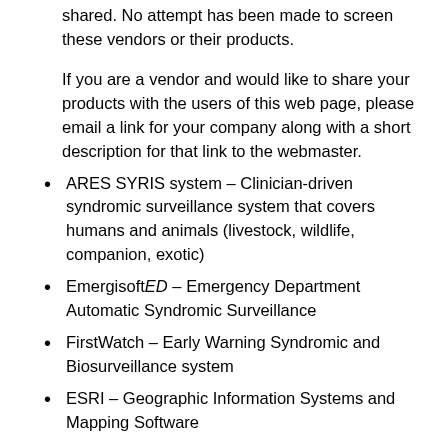shared. No attempt has been made to screen these vendors or their products.
If you are a vendor and would like to share your products with the users of this web page, please email a link for your company along with a short description for that link to the webmaster.
ARES SYRIS system – Clinician-driven syndromic surveillance system that covers humans and animals (livestock, wildlife, companion, exotic)
EmergisoftED – Emergency Department Automatic Syndromic Surveillance
FirstWatch – Early Warning Syndromic and Biosurveillance system
ESRI – Geographic Information Systems and Mapping Software
GIDEON (Global Infectious Diseases and